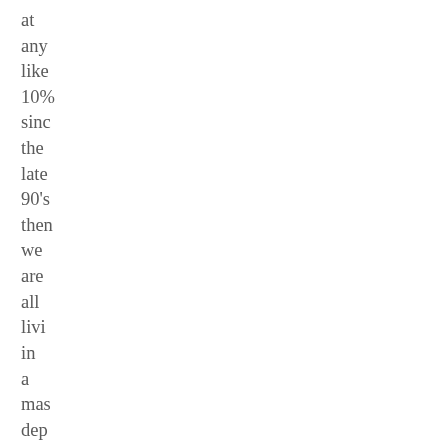at any like 10% since the late 90's then we are all living in a mas dep We it is wor poi out